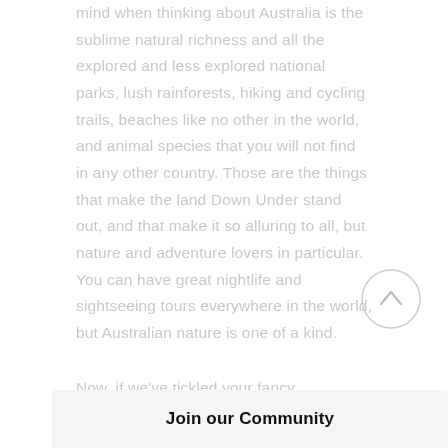mind when thinking about Australia is the sublime natural richness and all the explored and less explored national parks, lush rainforests, hiking and cycling trails, beaches like no other in the world, and animal species that you will not find in any other country. Those are the things that make the land Down Under stand out, and that make it so alluring to all, but nature and adventure lovers in particular. You can have great nightlife and sightseeing tours everywhere in the world, but Australian nature is one of a kind.
Now, if we've tickled your fancy sufficiently, and you're already browsing for tickets, but aren't really on an unlimited budget, follow us as we teach you all about exploring this gorgeous co...
[Figure (other): A circular scroll-to-top button with a light grey border and an upward-pointing chevron arrow icon in grey, positioned in the lower right area of the page.]
Join our Community